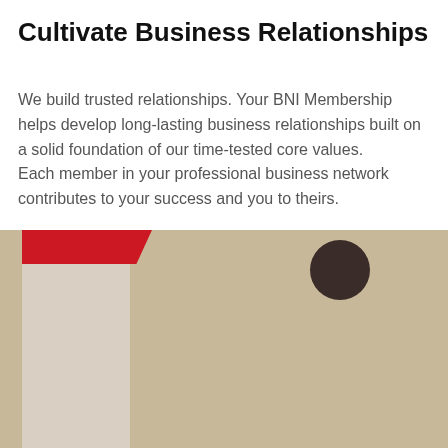Cultivate Business Relationships
We build trusted relationships. Your BNI Membership helps develop long-lasting business relationships built on a solid foundation of our time-tested core values.
Each member in your professional business network contributes to your success and you to theirs.
[Figure (photo): Photo of a business meeting scene partially visible behind a red cookie consent overlay banner]
By continuing to use this website, you consent to the use of cookies in accordance with our Cookie Policy.
I UNDERSTAND